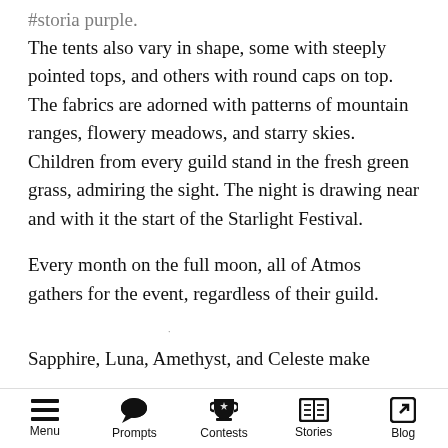#storia purple.
The tents also vary in shape, some with steeply pointed tops, and others with round caps on top. The fabrics are adorned with patterns of mountain ranges, flowery meadows, and starry skies. Children from every guild stand in the fresh green grass, admiring the sight. The night is drawing near and with it the start of the Starlight Festival.
Every month on the full moon, all of Atmos gathers for the event, regardless of their guild.
Sapphire, Luna, Amethyst, and Celeste make
Menu  Prompts  Contests  Stories  Blog